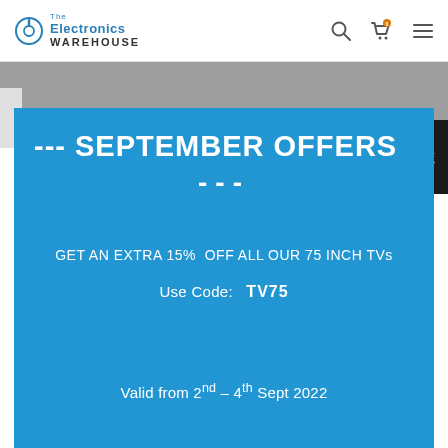Electronics Warehouse — navigation header with logo, search, cart (0), and menu icons
--- SEPTEMBER OFFERS ---
GET AN EXTRA 15% OFF ALL OUR 75 INCH TVs
Use Code: TV75
Valid from 2nd – 4th Sept 2022